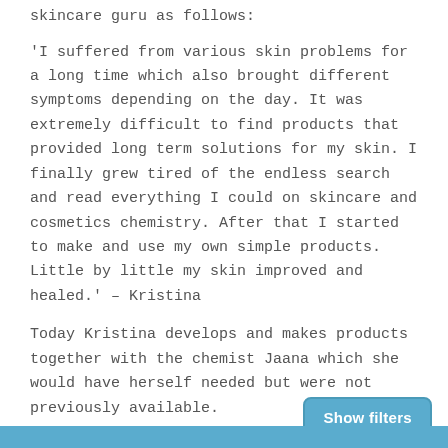skincare guru as follows:
'I suffered from various skin problems for a long time which also brought different symptoms depending on the day. It was extremely difficult to find products that provided long term solutions for my skin. I finally grew tired of the endless search and read everything I could on skincare and cosmetics chemistry. After that I started to make and use my own simple products. Little by little my skin improved and healed.' – Kristina
Today Kristina develops and makes products together with the chemist Jaana which she would have herself needed but were not previously available.
Try Laponie of Scandinavia and see the diffe...